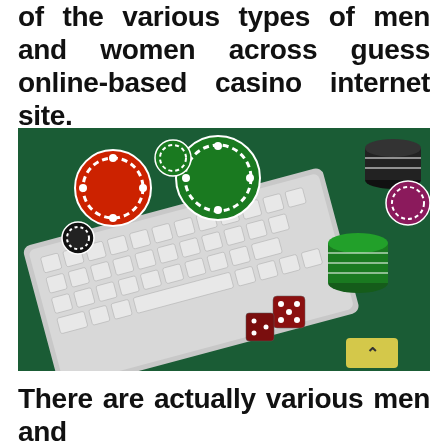of the various types of men and women across guess online-based casino internet site.
[Figure (photo): Photo of casino chips (red, green, black, pink) and red dice scattered on a green felt table surface, with a white Apple keyboard in the foreground. A yellow scroll-to-top button with a caret is visible in the bottom-right corner of the image.]
There are actually various men and